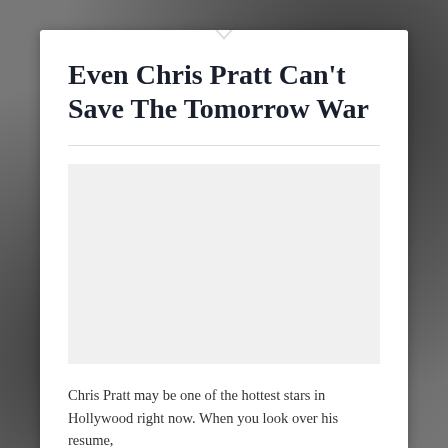Even Chris Pratt Can't Save The Tomorrow War
[Figure (photo): Large image placeholder area within the article card, appearing as a light gray empty box representing a movie-related photo]
Chris Pratt may be one of the hottest stars in Hollywood right now. When you look over his resume,